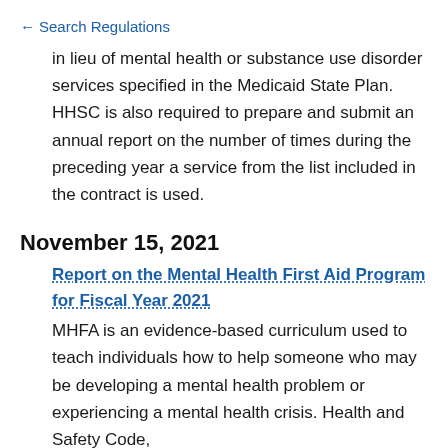← Search Regulations
in lieu of mental health or substance use disorder services specified in the Medicaid State Plan. HHSC is also required to prepare and submit an annual report on the number of times during the preceding year a service from the list included in the contract is used.
November 15, 2021
Report on the Mental Health First Aid Program for Fiscal Year 2021
MHFA is an evidence-based curriculum used to teach individuals how to help someone who may be developing a mental health problem or experiencing a mental health crisis. Health and Safety Code,